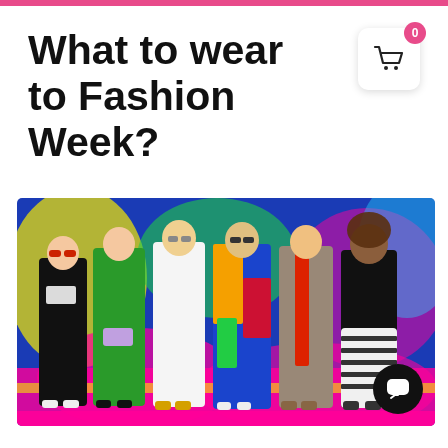What to wear to Fashion Week?
[Figure (photo): Six fashionably dressed women posing in front of a colorful graffiti wall with bright pink, yellow, blue and green colours. The women wear various outfits including a black ensemble, green satin wide-leg trousers with a blouse, a white pantsuit, a colourful geometric-print coat, a patterned long coat with red scarf, and a black leather jacket with a striped skirt.]